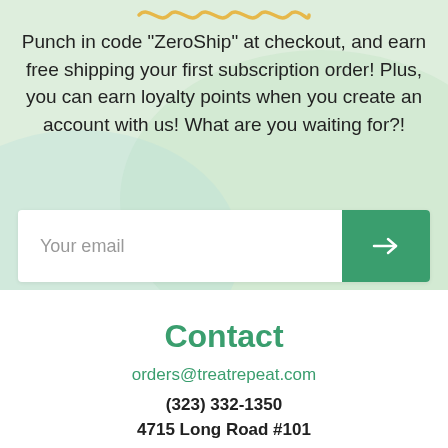[Figure (illustration): Decorative wavy line in golden/yellow color at the top center of the green background section]
Punch in code "ZeroShip" at checkout, and earn free shipping your first subscription order! Plus, you can earn loyalty points when you create an account with us! What are you waiting for?!
[Figure (illustration): Email input bar with 'Your email' placeholder text and a green arrow button on the right]
Contact
orders@treatrepeat.com
(323) 332-1350
4715 Long Road #101